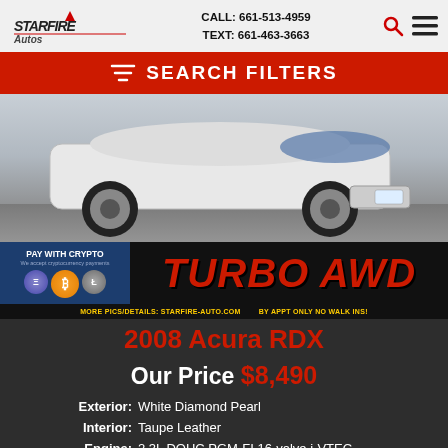CALL: 661-513-4959  TEXT: 661-463-3663
SEARCH FILTERS
[Figure (photo): White 2008 Acura RDX SUV photographed from rear quarter angle showing rear wheels and bumper, with desert/lot background. Overlay shows cryptocurrency payment banner with PAY WITH CRYPTO text and TURBO AWD text in red. Bottom strip reads: MORE PICS/DETAILS: STARFIRE-AUTO.COM  BY APPT ONLY NO WALK INS!]
2008 Acura RDX
Our Price $8,490
| Label | Value |
| --- | --- |
| Exterior: | White Diamond Pearl |
| Interior: | Taupe Leather |
| Engine: | 2.3L DOHC PGM-FI 16-valve i-VTEC turbocharged 4-cyl engine |
| Transmission: | Automatic |